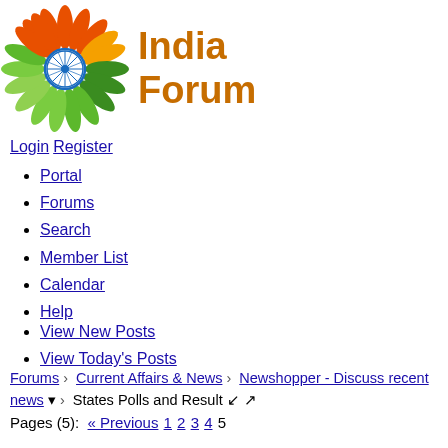[Figure (logo): India Forum logo: decorative flower with Ashoka Chakra, colored in orange, green, and white. Text 'India Forum' in orange beside it.]
Login  Register
Portal
Forums
Search
Member List
Calendar
Help
View New Posts
View Today's Posts
Forums › Current Affairs & News › Newshopper - Discuss recent news ▾ › States Polls and Result ↙ ↗
Pages (5):  « Previous  1  2  3  4  5